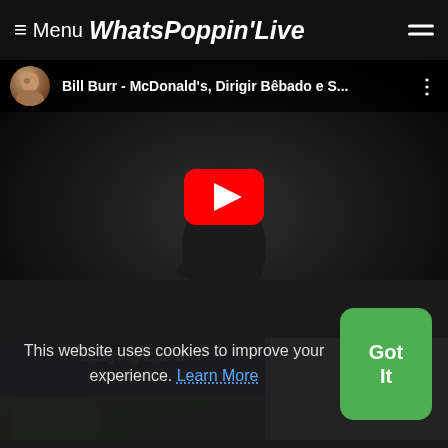≡ Menu WhatsPoppin'Live
[Figure (screenshot): YouTube embedded video thumbnail showing Bill Burr stand-up comedy. Top bar shows avatar, title 'Bill Burr - McDonald's, Dirigir Bêbado e S...' with three-dot menu. Center shows red YouTube play button. Background shows dark stage with performer silhouette.]
Bullying Call It Character
[Figure (photo): Partial image showing green rounded object on dark background.]
This website uses cookies to improve your experience. Learn More
Got It